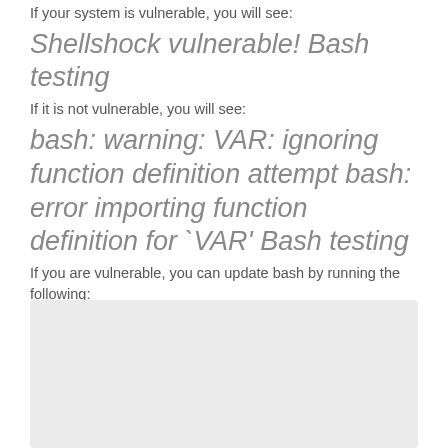If your system is vulnerable, you will see:
Shellshock vulnerable! Bash testing
If it is not vulnerable, you will see:
bash: warning: VAR: ignoring function definition attempt bash: error importing function definition for `VAR' Bash testing
If you are vulnerable, you can update bash by running the following:
sudo apt-get update && sudo apt-get install --only-upgrade bash
Once the update has finished, run the code to check your vulnerability again and it should be sorted.
[Figure (other): Gray placeholder box at the bottom of the page]